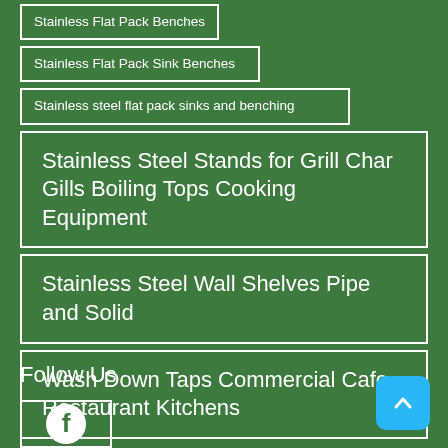Stainless Flat Pack Benches
Stainless Flat Pack Sink Benches
Stainless steel flat pack sinks and benching
Stainless Steel Stands for Grill Char Gills Boiling Tops Cooking Equipment
Stainless Steel Wall Shelves Pipe and Solid
Wash Down Taps Commercial Cafe Restaurant Kitchens
Follow Us